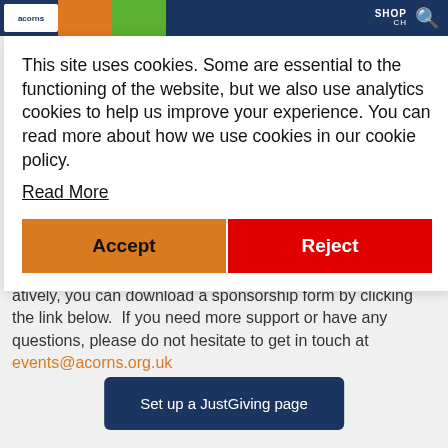SHOP | Navigation bar with logo, orange section, green section, blue section, search icon
This site uses cookies. Some are essential to the functioning of the website, but we also use analytics cookies to help us improve your experience. You can read more about how we use cookies in our cookie policy.
Read More
Accept | Reject
atively, you can download a sponsorship form by clicking the link below.  If you need more support or have any questions, please do not hesitate to get in touch at events@acorns.org.uk
Set up a JustGiving page